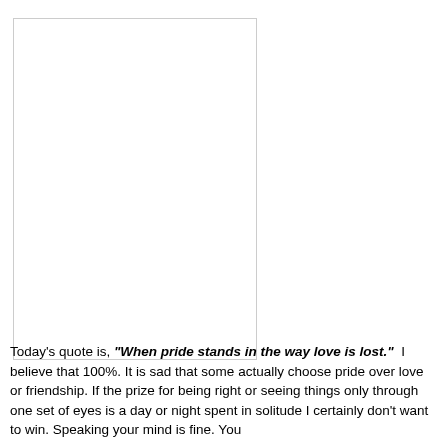[Figure (other): A blank white rectangular box with a thin border, likely a placeholder for an image.]
Today's quote is, "When pride stands in the way love is lost."  I believe that 100%.  It is sad that some actually choose pride over love or friendship.  If the prize for being right or seeing things only through one set of eyes is a day or night spent in solitude I certainly don't want to win.  Speaking your mind is fine.  You